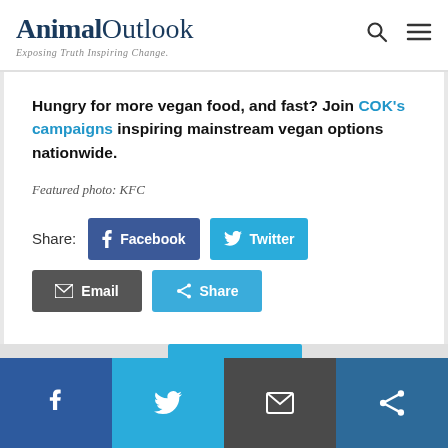Animal Outlook — Exposing Truth Inspiring Change
Hungry for more vegan food, and fast? Join COK's campaigns inspiring mainstream vegan options nationwide.
Featured photo: KFC
Share: Facebook Twitter Email Share
Social share bar: Facebook, Twitter, Email, Share